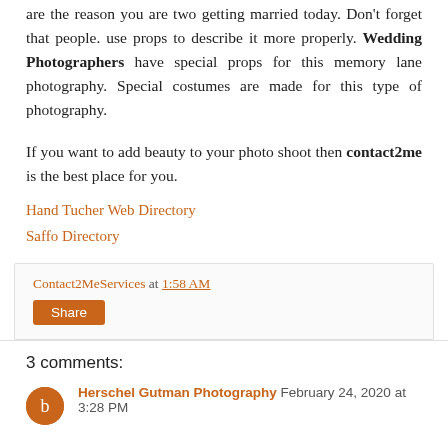are the reason you are two getting married today. Don't forget that people. use props to describe it more properly. Wedding Photographers have special props for this memory lane photography. Special costumes are made for this type of photography.
If you want to add beauty to your photo shoot then contact2me is the best place for you.
Hand Tucher Web Directory
Saffo Directory
Contact2MeServices at 1:58 AM
Share
3 comments:
Herschel Gutman Photography February 24, 2020 at 3:28 PM